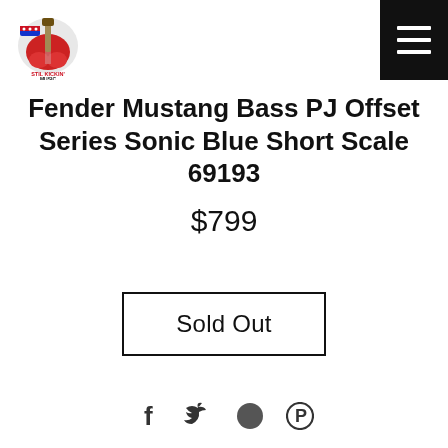[Figure (logo): Still Kickin Music logo - colorful guitar graphic with text]
Fender Mustang Bass PJ Offset Series Sonic Blue Short Scale 69193
$799
Sold Out
[Figure (other): Social media icons: Facebook, Twitter, Google/circle, Pinterest]